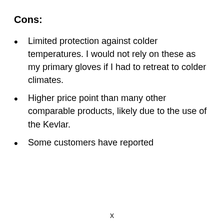Cons:
Limited protection against colder temperatures. I would not rely on these as my primary gloves if I had to retreat to colder climates.
Higher price point than many other comparable products, likely due to the use of the Kevlar.
Some customers have reported